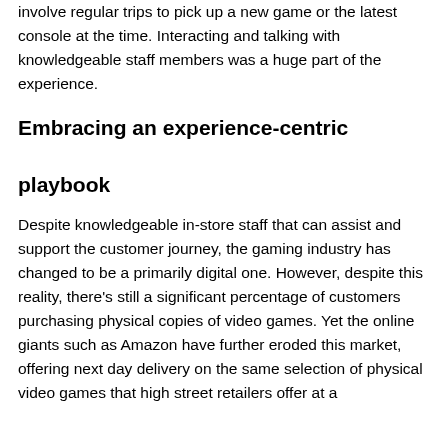involve regular trips to pick up a new game or the latest console at the time. Interacting and talking with knowledgeable staff members was a huge part of the experience.
Embracing an experience-centric playbook
Despite knowledgeable in-store staff that can assist and support the customer journey, the gaming industry has changed to be a primarily digital one. However, despite this reality, there's still a significant percentage of customers purchasing physical copies of video games. Yet the online giants such as Amazon have further eroded this market, offering next day delivery on the same selection of physical video games that high street retailers offer at a